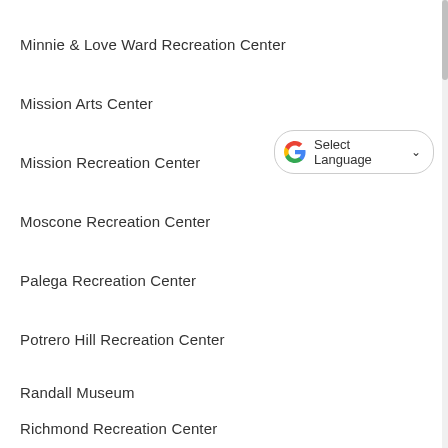Minnie & Love Ward Recreation Center
Mission Arts Center
Mission Recreation Center
[Figure (screenshot): Google Translate 'Select Language' widget with Google G logo and dropdown arrow]
Moscone Recreation Center
Palega Recreation Center
Potrero Hill Recreation Center
Randall Museum
Richmond Recreation Center